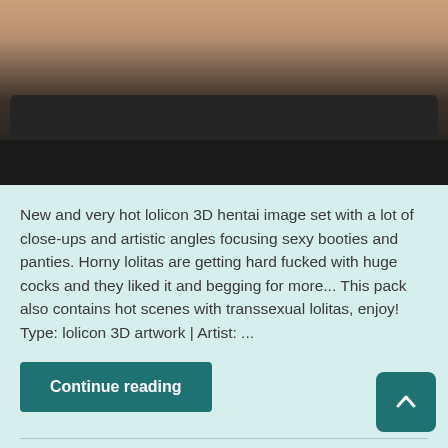[Figure (photo): Partial view of a person's bare back/shoulders leaning over a dark leather sofa/couch, photographed from behind at close range.]
New and very hot lolicon 3D hentai image set with a lot of close-ups and artistic angles focusing sexy booties and panties. Horny lolitas are getting hard fucked with huge cocks and they liked it and begging for more... This pack also contains hot scenes with transsexual lolitas, enjoy! Type: lolicon 3D artwork | Artist: ...
Continue reading
3D hentai, anal, belly bulge, bestiality, big ass loli, big